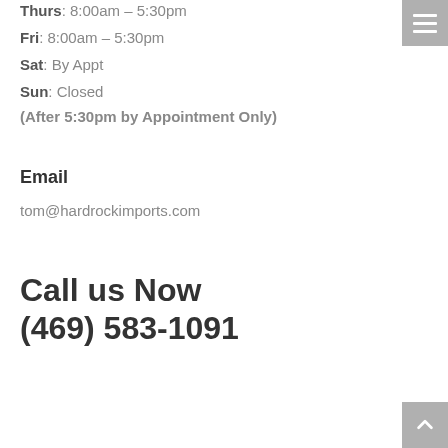Thurs: 8:00am – 5:30pm
Fri: 8:00am – 5:30pm
Sat: By Appt
Sun: Closed
(After 5:30pm by Appointment Only)
Email
tom@hardrockimports.com
Call us Now (469) 583-1091